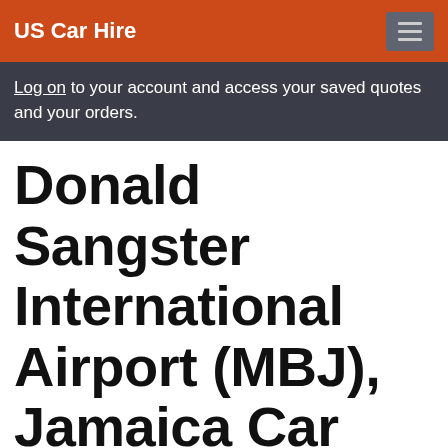US Car Hire
Log on to your account and access your saved quotes and your orders.
Donald Sangster International Airport (MBJ), Jamaica Car Hire
Worldwide car hire > Jamaica car hire > Donald Sangster International Airport (MBJ), Jamaica
[Figure (other): Light blue placeholder/form box at the bottom of the page]